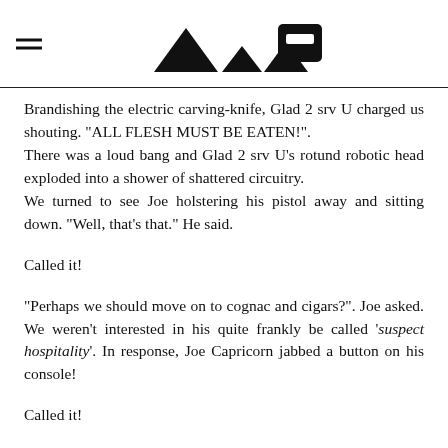Brandishing the electric carving-knife, Glad 2 srv U charged us shouting. "ALL FLESH MUST BE EATEN!".
There was a loud bang and Glad 2 srv U's rotund robotic head exploded into a shower of shattered circuitry.
We turned to see Joe holstering his pistol away and sitting down. "Well, that's that." He said.
Called it!
"Perhaps we should move on to cognac and cigars?". Joe asked. We weren't interested in his quite frankly be called 'suspect hospitality'. In response, Joe Capricorn jabbed a button on his console!
Called it!
Suddenly, the room began to tremble and then shake